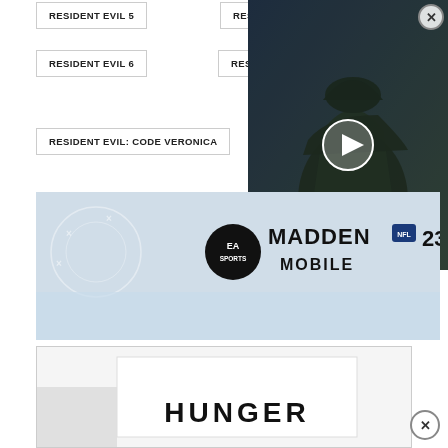RESIDENT EVIL 5
RESIDENT EVIL 5: LOST IN NIGHTMARES
RESIDENT EVIL 6
RESIDENT EVIL: CODE VERONICA
RESIDENT EVIL: OPERATION RACCOON
RESIDENT EVIL: REVELATIONS
RESIDENT EVIL: THE UMBRELLA CHRONICLES
[Figure (screenshot): Video player overlay showing a dark armored figure with a play button icon in center and X close button in top right corner]
YOU MAY ALSO LIKE
[Figure (photo): Madden NFL 23 Mobile advertisement showing EA Sports logo and game title against a light background]
[Figure (photo): Bottom advertisement with white background showing the word HUNGER in large bold letters]
X